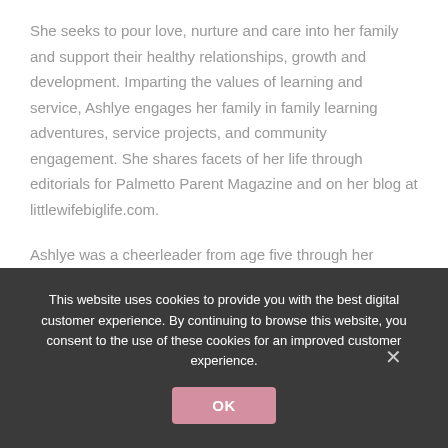She seeks to pour love, nurture and care into her family and support their healthy relationships, growth and development. Imparting the values of learning and service, Ashlye engages her family in family learning adventures, service projects, and community engagement. She shares facets of her life through editorials for Palmetto Parent Magazine and on her blog at littlewifebiglife.com.
Ashlye was a cheerleader from age five through her senior year in high school. She is a natural encourager and love to see people, especially women, succeed at their highest potential and achieve their dreams. Through Phenomenal
This website uses cookies to provide you with the best digital customer experience. By continuing to browse this website, you consent to the use of these cookies for an improved customer experience.